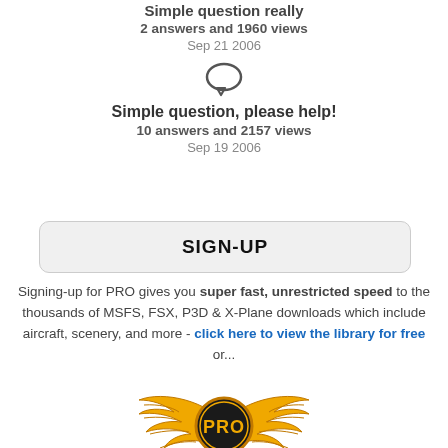Simple question really
2 answers and 1960 views
Sep 21 2006
[Figure (illustration): Speech bubble / chat icon]
Simple question, please help!
10 answers and 2157 views
Sep 19 2006
SIGN-UP
Signing-up for PRO gives you super fast, unrestricted speed to the thousands of MSFS, FSX, P3D & X-Plane downloads which include aircraft, scenery, and more - click here to view the library for free or...
[Figure (logo): PRO wings logo with golden wings and PRO badge in center]
Sign-Up Now
PRO membership payments go directly back into the website to pay for